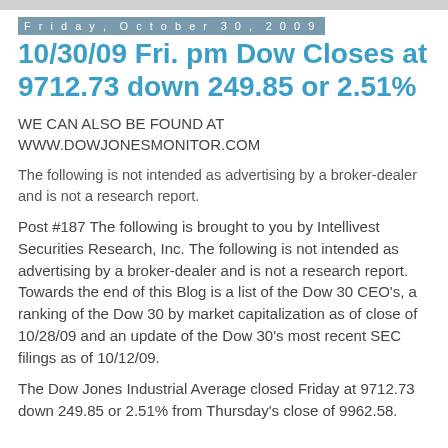Friday, October 30, 2009
10/30/09 Fri. pm Dow Closes at 9712.73 down 249.85 or 2.51%
WE CAN ALSO BE FOUND AT WWW.DOWJONESMONITOR.COM
The following is not intended as advertising by a broker-dealer and is not a research report.
Post #187 The following is brought to you by Intellivest Securities Research, Inc. The following is not intended as advertising by a broker-dealer and is not a research report. Towards the end of this Blog is a list of the Dow 30 CEO's, a ranking of the Dow 30 by market capitalization as of close of 10/28/09 and an update of the Dow 30's most recent SEC filings as of 10/12/09.
The Dow Jones Industrial Average closed Friday at 9712.73 down 249.85 or 2.51% from Thursday's close of 9962.58.